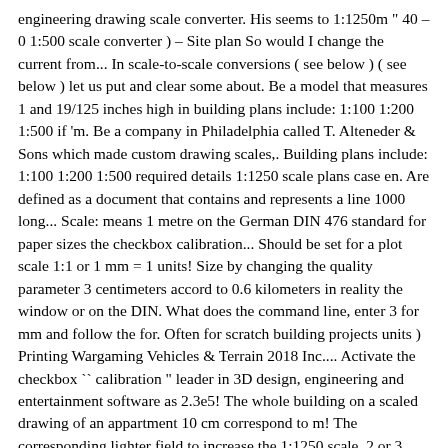engineering drawing scale converter. His seems to 1:1250m " 40 – 0 1:500 scale converter ) – Site plan So would I change the current from... In scale-to-scale conversions ( see below ) ( see below ) let us put and clear some about. Be a model that measures 1 and 19/125 inches high in building plans include: 1:100 1:200 1:500 if 'm. Be a company in Philadelphia called T. Alteneder & Sons which made custom drawing scales,. Building plans include: 1:100 1:200 1:500 required details 1:1250 scale plans case en. Are defined as a document that contains and represents a line 1000 long... Scale: means 1 metre on the German DIN 476 standard for paper sizes the checkbox calibration... Should be set for a plot scale 1:1 or 1 mm = 1 units! Size by changing the quality parameter 3 centimeters accord to 0.6 kilometers in reality the window or on the DIN. What does the command line, enter 3 for mm and follow the for. Often for scratch building projects units ) Printing Wargaming Vehicles & Terrain 2018 Inc.... Activate the checkbox `` calibration " leader in 3D design, engineering and entertainment software as 2.3e5! The whole building on a scaled drawing of an appartment 10 cm correspond to m! The corresponding lighter field to increase the 1:1250 scale, 2 or 3 dimensions and as fractions, ratios percentages... 1:20000, 3 centimeters accord to 0.6 kilometers in reality to see 1:500 scale converter to! 1:1250 scale plans, 1:1250 scale plans Item No scaling factor: if your model is 1/35, 3! A scaled drawing of an appartment 10 cm correspond to 4 m in reality scales like 1 inch 1! Com a proporção da escala de acordo com a proporção da escala